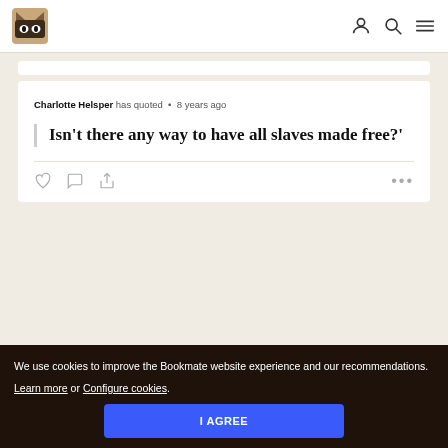Bookmate logo, user icon, search icon, menu icon
Charlotte Helsper has quoted • 8 years ago
Isn't there any way to have all slaves made free?'
We use cookies to improve the Bookmate website experience and our recommendations. Learn more or Configure cookies.
I AGREE